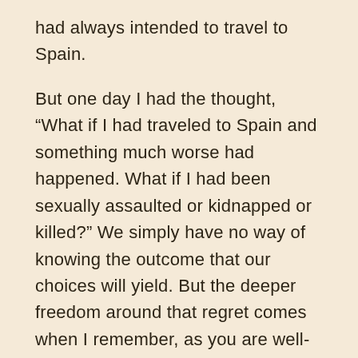had always intended to travel to Spain.
But one day I had the thought, “What if I had traveled to Spain and something much worse had happened. What if I had been sexually assaulted or kidnapped or killed?” We simply have no way of knowing the outcome that our choices will yield. But the deeper freedom around that regret comes when I remember, as you are well-aware if you follow my blog, that it was that experience in Brazil, as heart-wrenching and grueling and traumatic as it was, that catapulted me into the world of anxiety and panic and the work that I have